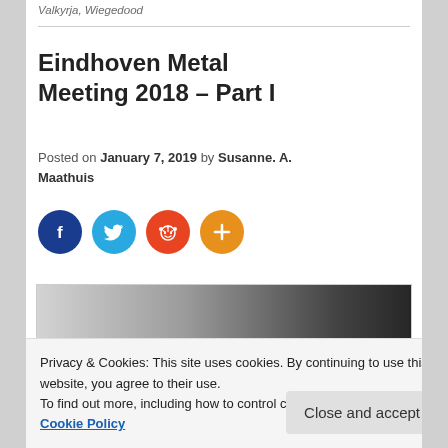Valkyrja, Wiegedood
Eindhoven Metal Meeting 2018 – Part I
Posted on January 7, 2019 by Susanne. A. Maathuis
[Figure (infographic): Social share icons: Facebook (dark blue), Twitter (light blue), Reddit (orange-red), Plus/More (orange)]
[Figure (photo): Black and white photograph, partially visible, gradient from light grey to black]
Privacy & Cookies: This site uses cookies. By continuing to use this website, you agree to their use.
To find out more, including how to control cookies, see here: Cookie Policy
Close and accept